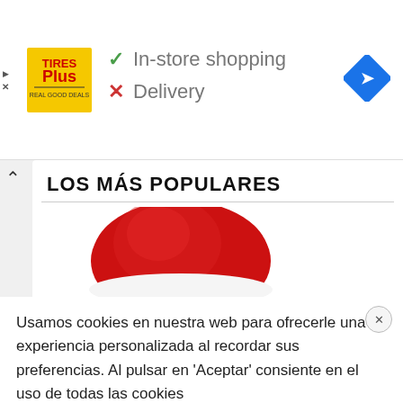[Figure (screenshot): Tires Plus store advertisement banner showing yellow logo with 'TIRES PLUS' text, checkmark for 'In-store shopping', X mark for 'Delivery', and a blue navigation diamond icon on the right.]
LOS MÁS POPULARES
[Figure (photo): Close-up photo of a red knitted hat/beanie against a white background.]
Usamos cookies en nuestra web para ofrecerle una experiencia personalizada al recordar sus preferencias. Al pulsar en 'Aceptar' consiente en el uso de todas las cookies
No vender mi información personal. Leer más Rechazar
Aceptar Configuración de cookies